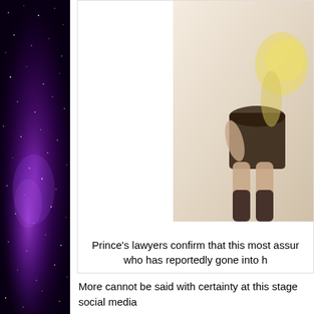[Figure (photo): Left sidebar with purple/violet space nebula background with stars]
[Figure (photo): Partial photo of a person, cropped, showing legs and light-colored hair against a light background]
Prince's lawyers confirm that this most assur who has reportedly gone into h
More cannot be said with certainty at this stage social media
LATEST UPDATE: Freaky swinger, Pope Fran